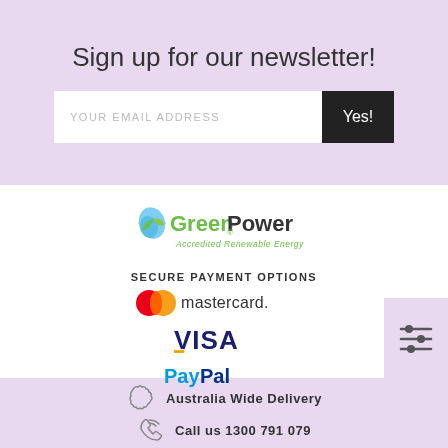Sign up for our newsletter!
[Figure (screenshot): Email signup input field with placeholder YOUR EMAIL ADDRESS and a black Yes! button]
[Figure (logo): GreenPower Accredited Renewable Energy logo]
SECURE PAYMENT OPTIONS
[Figure (logo): Mastercard logo]
[Figure (logo): VISA logo]
[Figure (logo): PayPal logo]
Australia Wide Delivery
Call us 1300 791 079